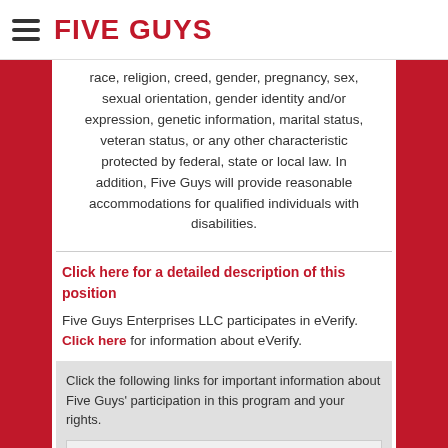FIVE GUYS
race, religion, creed, gender, pregnancy, sex, sexual orientation, gender identity and/or expression, genetic information, marital status, veteran status, or any other characteristic protected by federal, state or local law. In addition, Five Guys will provide reasonable accommodations for qualified individuals with disabilities.
Click here for a detailed description of this position
Five Guys Enterprises LLC participates in eVerify. Click here for information about eVerify.
Click the following links for important information about Five Guys' participation in this program and your rights.
eVerify Notice of Participation – English
eVerify aviso de participación – Espanol